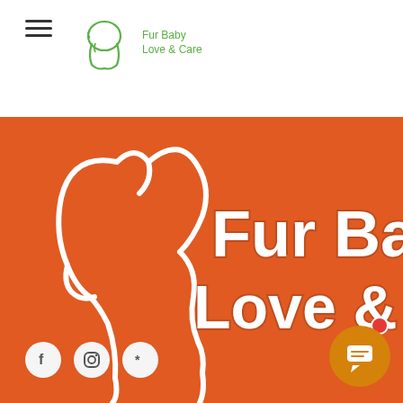[Figure (logo): Fur Baby Love & Care small header logo with paw/dog outline icon and green text]
[Figure (logo): Large Fur Baby Love & Care logo on orange background with white dog outline silhouette and white playful text]
[Figure (infographic): Social media icons row: Facebook, Instagram, Yelp on white circles; chat bubble button bottom right]